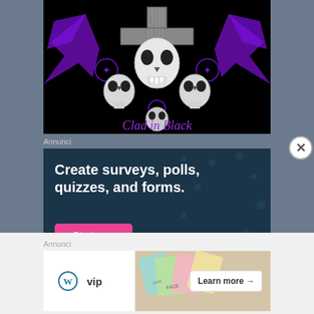[Figure (illustration): Gothic skull artwork with purple bat wings, crosses, pentagrams, and multiple skulls on black background with 'Clad in Black' text in purple gothic font]
Annunci
[Figure (screenshot): Dark teal advertisement banner reading 'Create surveys, polls, quizzes, and forms.' with a pink 'Start now' button]
Annunci
[Figure (screenshot): White advertisement bar with WordPress VIP logo on left and colorful business cards image on right with 'Learn more →' button]